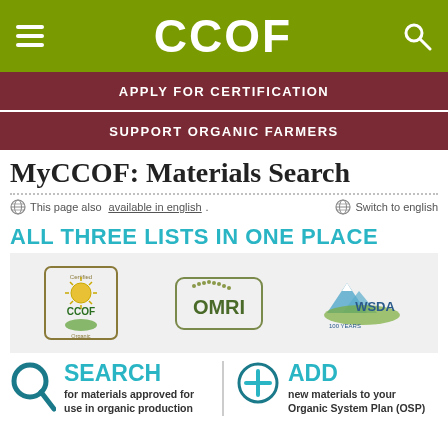CCOF
APPLY FOR CERTIFICATION
SUPPORT ORGANIC FARMERS
MyCCOF: Materials Search
This page also available in english.
Switch to english
ALL THREE LISTS IN ONE PLACE
[Figure (logo): CCOF Certified Organic logo, OMRI logo, and WSDA 100 Years logo]
[Figure (infographic): Search icon with text: SEARCH for materials approved for use in organic production | Add icon with text: ADD new materials to your Organic System Plan (OSP)]